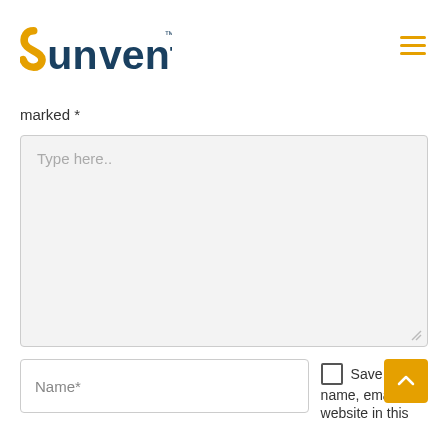[Figure (logo): Sunventus logo with yellow 'S' swirl and dark teal text, TM mark, hamburger menu icon top right]
marked *
[Figure (other): Large text area input field with placeholder text 'Type here..' and resize handle at bottom right]
[Figure (other): Name* input field with checkbox and 'Save m... name, email, and website in this' text, and yellow scroll-to-top button]